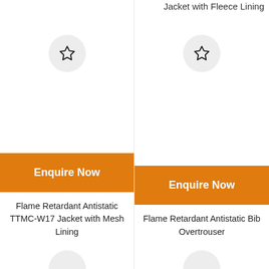Jacket with Fleece Lining
[Figure (illustration): Star/favourite icon in grey circle, left product column]
[Figure (illustration): Star/favourite icon in grey circle, right product column]
Enquire Now
Enquire Now
Flame Retardant Antistatic TTMC-W17 Jacket with Mesh Lining
Flame Retardant Antistatic Bib Overtrouser